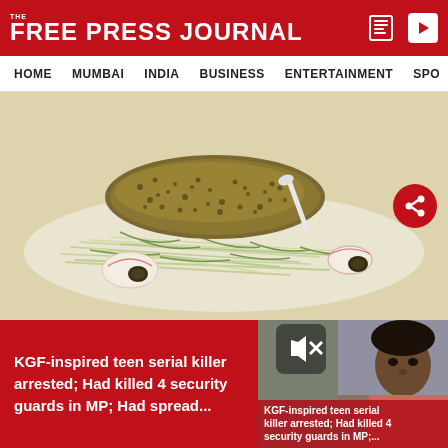THE FREE PRESS JOURNAL
HOME   MUMBAI   INDIA   BUSINESS   ENTERTAINMENT   SPO
[Figure (photo): Food dish photo: a breaded/herb-coated food item served on a plate with thinly sliced vegetables, green herbs, radish slices, and small dark garnishes.]
KGF-inspired teen serial killer arrested; Had killed 4 security guards in MP; Had spread...
[Figure (screenshot): Video thumbnail showing a young man's face, with overlay text: KGF-inspired teen serial killer arrested; Had killed 4 security guards in MP;...]